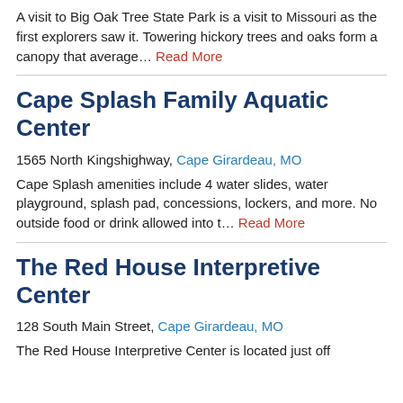A visit to Big Oak Tree State Park is a visit to Missouri as the first explorers saw it. Towering hickory trees and oaks form a canopy that average… Read More
Cape Splash Family Aquatic Center
1565 North Kingshighway, Cape Girardeau, MO
Cape Splash amenities include 4 water slides, water playground, splash pad, concessions, lockers, and more. No outside food or drink allowed into t… Read More
The Red House Interpretive Center
128 South Main Street, Cape Girardeau, MO
The Red House Interpretive Center is located just off